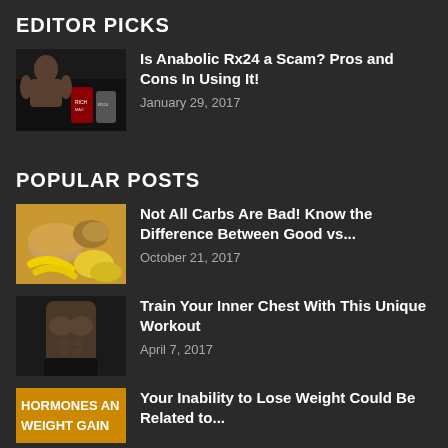EDITOR PICKS
[Figure (photo): Muscular man sitting with fitness supplement containers (RX24) in a dark gym setting]
Is Anabolic Rx24 a Scam? Pros and Cons In Using It!
January 29, 2017
POPULAR POSTS
[Figure (photo): Assorted carbohydrate foods including bread, grains, and bananas on a wooden surface]
Not All Carbs Are Bad! Know the Difference Between Good vs...
October 21, 2017
[Figure (photo): Muscular male torso showing defined chest and abs against dark background]
Train Your Inner Chest With This Unique Workout
April 7, 2017
[Figure (photo): Partial image with text HORMONES AN and WEIGHT GAIN visible]
Your Inability to Lose Weight Could Be Related to...